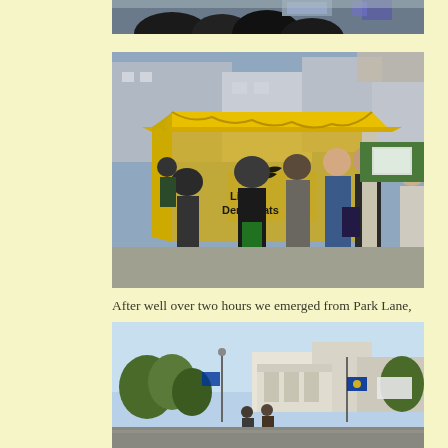[Figure (photo): Top portion of a street scene photo showing people's heads and what appears to be a purple flag or banner]
[Figure (photo): Liberal Democrats campaign stall under a large yellow tent/gazebo on a street, with multiple people gathered around it]
After well over two hours we emerged from Park Lane, the starting point,  into Piccadilly.
[Figure (photo): Outdoor scene showing trees, buildings and what appears to be protesters with EU flags near Park Lane/Piccadilly area]